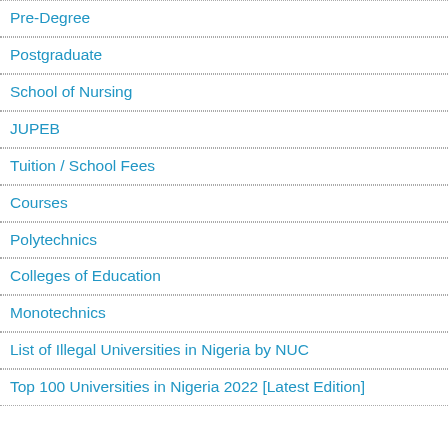Pre-Degree
Postgraduate
School of Nursing
JUPEB
Tuition / School Fees
Courses
Polytechnics
Colleges of Education
Monotechnics
List of Illegal Universities in Nigeria by NUC
Top 100 Universities in Nigeria 2022 [Latest Edition]